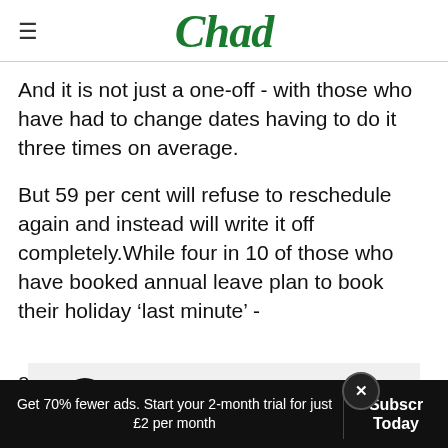Chad
And it is not just a one-off - with those who have had to change dates having to do it three times on average.
But 59 per cent will refuse to reschedule again and instead will write it off completely.While four in 10 of those who have booked annual leave plan to book their holiday ‘last minute’ - an av[erage of 13 days befor]e their holiday.
[Figure (screenshot): Advertisement banner: Save Up To $110 On New Tires - Virginia Tire & Auto of Ashburn Fa.]
Get 70% fewer ads. Start your 2-month trial for just £2 per month
Subscribe Today